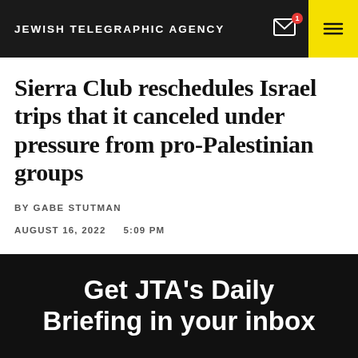JEWISH TELEGRAPHIC AGENCY
Sierra Club reschedules Israel trips that it canceled under pressure from pro-Palestinian groups
BY GABE STUTMAN
AUGUST 16, 2022   5:09 PM
Get JTA's Daily Briefing in your inbox